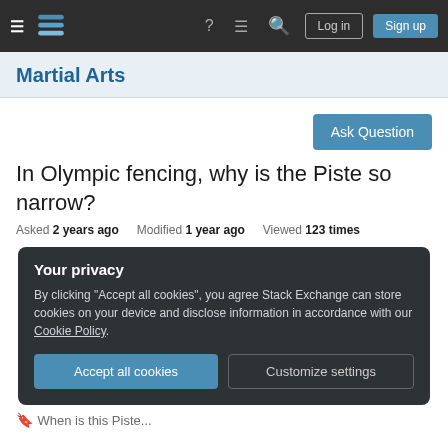≡  [Stack Exchange logo]  ?  ≡  🔍  Log in  Sign up
Martial Arts
Ask Question
In Olympic fencing, why is the Piste so narrow?
Asked 2 years ago   Modified 1 year ago   Viewed 123 times
Your privacy
By clicking "Accept all cookies", you agree Stack Exchange can store cookies on your device and disclose information in accordance with our Cookie Policy.
[Accept all cookies]  [Customize settings]
When is this Piste...